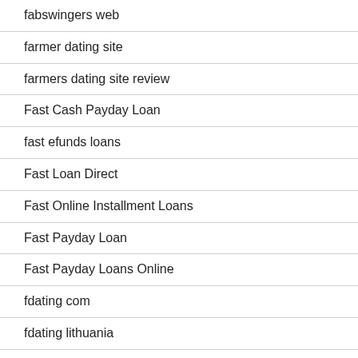fabswingers web
farmer dating site
farmers dating site review
Fast Cash Payday Loan
fast efunds loans
Fast Loan Direct
Fast Online Installment Loans
Fast Payday Loan
Fast Payday Loans Online
fdating com
fdating lithuania